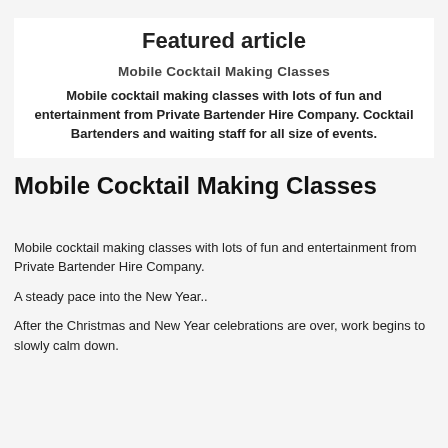Featured article
Mobile Cocktail Making Classes
Mobile cocktail making classes with lots of fun and entertainment from Private Bartender Hire Company. Cocktail Bartenders and waiting staff for all size of events.
Mobile Cocktail Making Classes
Mobile cocktail making classes with lots of fun and entertainment from Private Bartender Hire Company.
A steady pace into the New Year..
After the Christmas and New Year celebrations are over, work begins to slowly calm down.